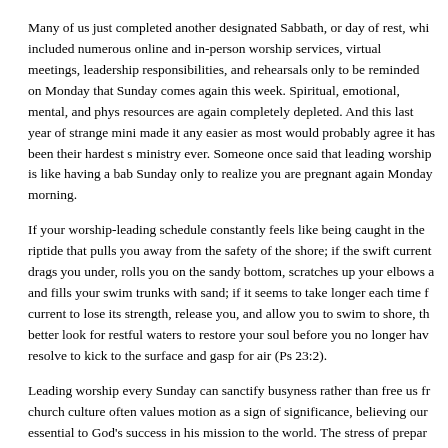Many of us just completed another designated Sabbath, or day of rest, which included numerous online and in-person worship services, virtual meetings, leadership responsibilities, and rehearsals only to be reminded on Monday that Sunday comes again this week. Spiritual, emotional, mental, and physical resources are again completely depleted. And this last year of strange ministry made it any easier as most would probably agree it has been their hardest season of ministry ever. Someone once said that leading worship is like having a baby on Sunday only to realize you are pregnant again Monday morning.
If your worship-leading schedule constantly feels like being caught in the riptide that pulls you away from the safety of the shore; if the swift current drags you under, rolls you on the sandy bottom, scratches up your elbows and fills your swim trunks with sand; if it seems to take longer each time for the current to lose its strength, release you, and allow you to swim to shore, then better look for restful waters to restore your soul before you no longer have the resolve to kick to the surface and gasp for air (Ps 23:2).
Leading worship every Sunday can sanctify busyness rather than free us from it; church culture often values motion as a sign of significance, believing our work is essential to God's success in his mission to the world. The stress of preparing multiple services each week and the demands of congregants, teams, and schedules constantly vying for our time and attention may be exhausting our reserves. If that is true for you and your team, how can you expect to lead others to a place you no longer have the strength to go yourselves?